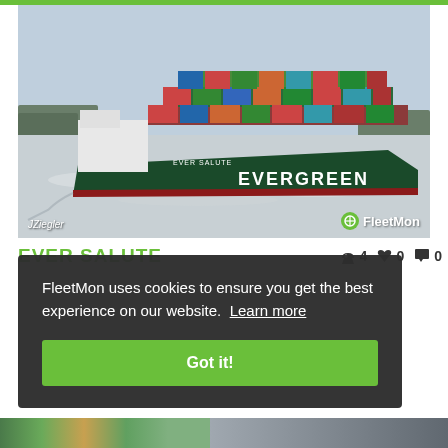[Figure (photo): Large Evergreen container ship named 'Ever Salute' sailing on icy water, loaded with colorful shipping containers (red, green, blue, orange). The ship is dark green hulled with the EVERGREEN brand name visible on the side. Photo credit to JZiegler, FleetMon watermark on bottom right.]
EVER SALUTE
👍 4   ♥ 0   💬 0
FleetMon uses cookies to ensure you get the best experience on our website. Learn more
Got it!
[Figure (photo): Partial view of thumbnail images at the bottom of the page, partially obscured by cookie banner.]